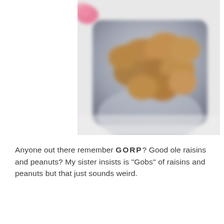[Figure (photo): A blurry close-up photo of peanuts (GORP trail mix) in a blue/gray square bowl or container, with a pink object partially visible at the top left corner. The background is white.]
Anyone out there remember GORP? Good ole raisins and peanuts? My sister insists is "Gobs" of raisins and peanuts but that just sounds weird.